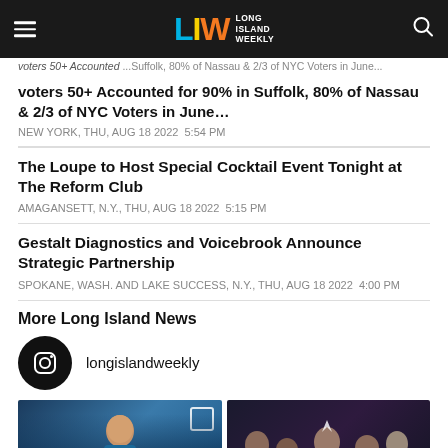LIW LONG ISLAND WEEKLY
...voters 50+ Accounted...Suffolk, 80% of Nassau & 2/3 of NYC Voters in June...
NEW YORK, Thu, Aug 18 2022 5:54 PM
The Loupe to Host Special Cocktail Event Tonight at The Reform Club
AMAGANSETT, N.Y., Thu, Aug 18 2022 5:15 PM
Gestalt Diagnostics and Voicebrook Announce Strategic Partnership
SPOKANE, Wash. and LAKE SUCCESS, N.Y., Thu, Aug 18 2022 4:00 PM
More Long Island News
longislandweekly
[Figure (photo): Person photo left]
[Figure (photo): Group photo right]